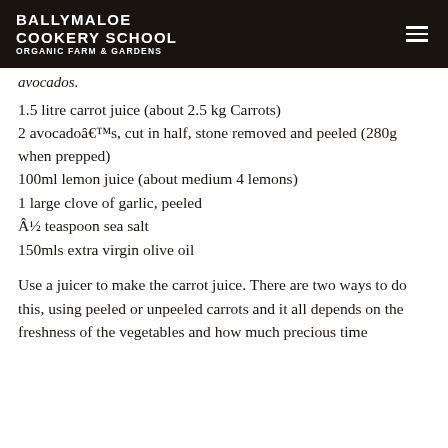BALLYMALOE COOKERY SCHOOL ORGANIC FARM & GARDENS
avocados.
1.5 litre carrot juice (about 2.5 kg Carrots)
2 avocadoâ€™s, cut in half, stone removed and peeled (280g when prepped)
100ml lemon juice (about medium 4 lemons)
1 large clove of garlic, peeled
Â½ teaspoon sea salt
150mls extra virgin olive oil
Use a juicer to make the carrot juice. There are two ways to do this, using peeled or unpeeled carrots and it all depends on the freshness of the vegetables and how much precious time